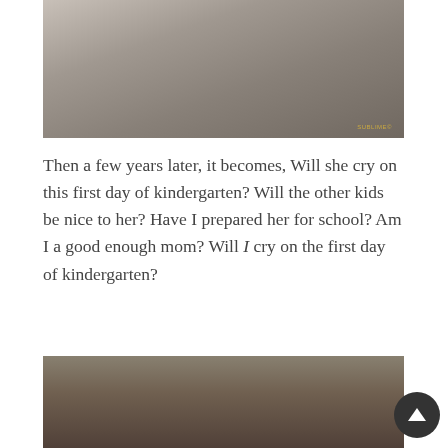[Figure (photo): A soft-focus photograph of a baby or young child wrapped in white lace/tulle fabric, resting in what appears to be a hammock. A watermark reading 'SUBLIME©' appears in the lower right corner of the image.]
Then a few years later, it becomes, Will she cry on this first day of kindergarten? Will the other kids be nice to her? Have I prepared her for school? Am I a good enough mom? Will I cry on the first day of kindergarten?
[Figure (photo): A sepia-toned photograph of a young girl with dark hair, partially visible, with some foliage or branches in the background.]